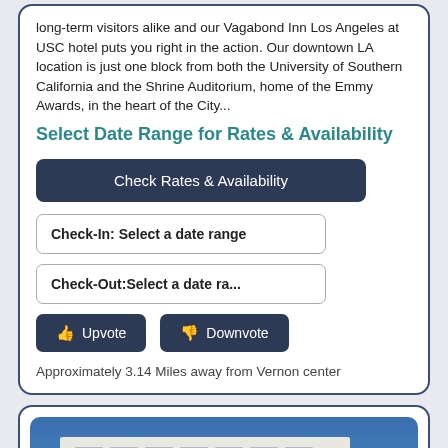long-term visitors alike and our Vagabond Inn Los Angeles at USC hotel puts you right in the action. Our downtown LA location is just one block from both the University of Southern California and the Shrine Auditorium, home of the Emmy Awards, in the heart of the City...
Select Date Range for Rates & Availability
Check Rates & Availability
Check-In: Select a date range
Check-Out:Select a date ra...
👍 Upvote   👎 Downvote
Approximately 3.14 Miles away from Vernon center
[Figure (photo): Exterior photo of a modern multi-story hotel building against a blue sky, taken from a low angle looking upward. The building is white/light colored with multiple rows of windows, and a darker section on the right side.]